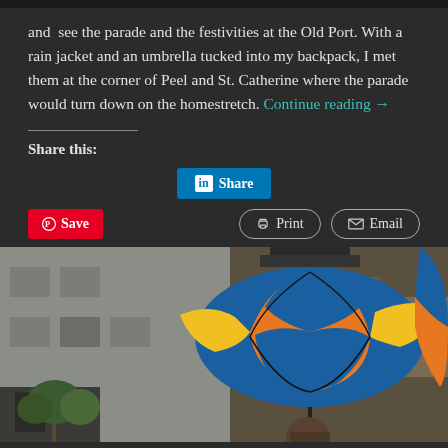and see the parade and the festivities at the Old Port. With a rain jacket and an umbrella tucked into my backpack, I met them at the corner of Peel and St. Catherine where the parade would turn down on the homestretch. Continue reading →
Share this:
[Figure (screenshot): Social sharing buttons: LinkedIn Share button (blue), Pinterest Save button (red), Print button (outlined), Email button (outlined)]
[Figure (photo): Parade scene showing colorful blue and orange balloon/umbrella float against a grey building backdrop with trees visible on the left]